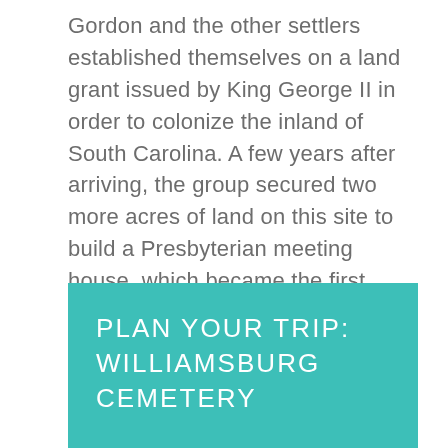Gordon and the other settlers established themselves on a land grant issued by King George II in order to colonize the inland of South Carolina. A few years after arriving, the group secured two more acres of land on this site to build a Presbyterian meeting house, which became the first Williamsburg Presbyterian Church. Considered the founder of Kingstree, Captain Gordon died in 1750.
PLAN YOUR TRIP: WILLIAMSBURG CEMETERY